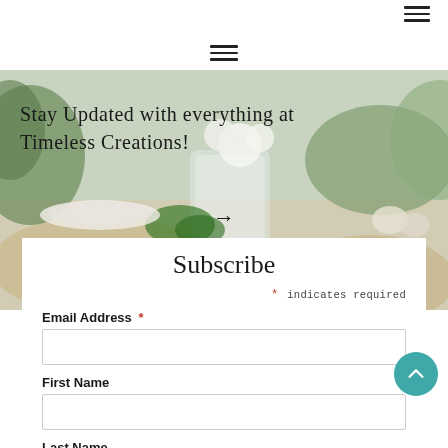[Figure (screenshot): Website screenshot showing a subscription form for 'Timeless Creations' with a hero image of floral/table decorations, a hamburger menu icon, and a subscribe form with Email Address, First Name, and Last Name fields.]
Stay Updated with everything at Timeless Creations!
Subscribe
* indicates required
Email Address *
First Name
Last Name